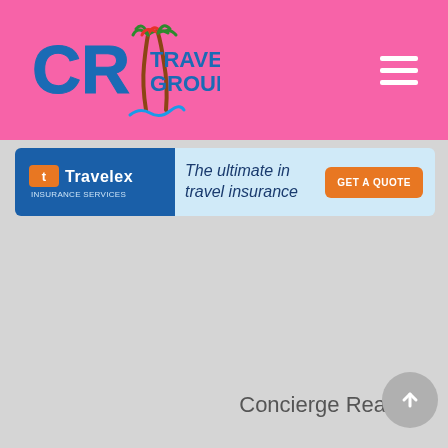[Figure (logo): CR Travel Group logo with palm trees on pink background header bar]
[Figure (screenshot): Travelex Insurance Services advertisement banner: 'The ultimate in travel insurance' with GET A QUOTE button]
Concierge Realty